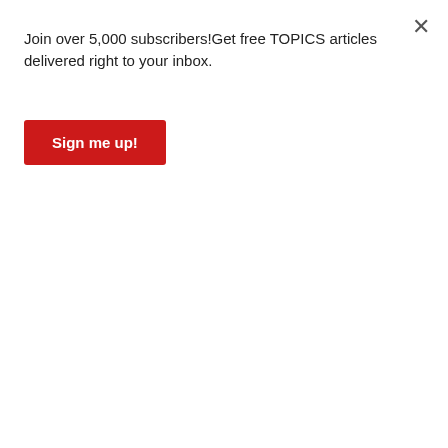Join over 5,000 subscribers!Get free TOPICS articles delivered right to your inbox.
Sign me up!
annum, so by 2018 we hope to reach 11.7 million visitors. As for the percentage of GDP this represents, that was 3.2% or NT$390 billion in 2007, and it rose to 4.72% or NT$753 billion in 2014. Obviously, these are positive figures, but we always hope to do better.
You are currently implementing the 2015-2018 Tourism Action Plan. What can we expect from this?